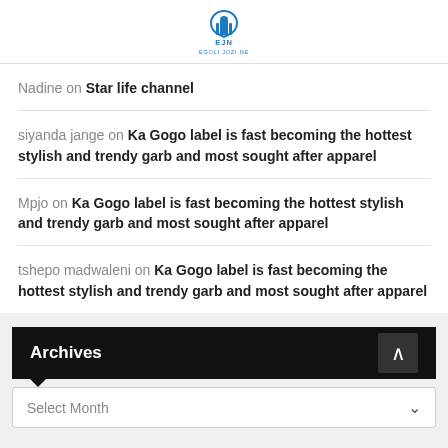[Figure (logo): EJN Egoli Jozi Ne logo with blue building icon]
Nadine on Star life channel
siyanda jange on Ka Gogo label is fast becoming the hottest stylish and trendy garb and most sought after apparel
Mpjo on Ka Gogo label is fast becoming the hottest stylish and trendy garb and most sought after apparel
tshepo madwaleni on Ka Gogo label is fast becoming the hottest stylish and trendy garb and most sought after apparel
Archives
Select Month